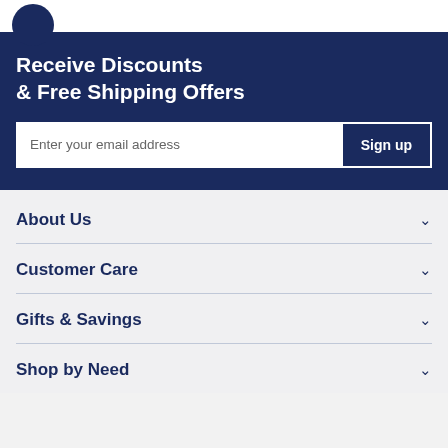[Figure (logo): Partial circular dark navy logo icon at top left]
Receive Discounts & Free Shipping Offers
Enter your email address  Sign up
About Us
Customer Care
Gifts & Savings
Shop by Need